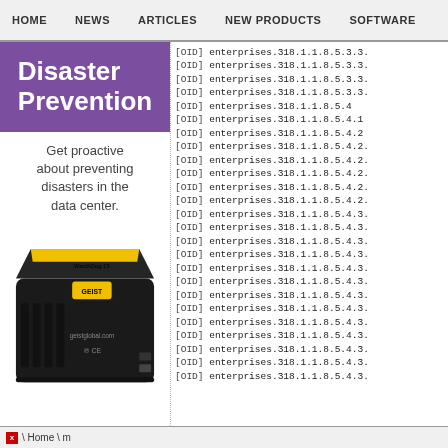HOME   NEWS   ARTICLES   NEW PRODUCTS   SOFTWARE
Disaster Prevention
Get proactive about preventing disasters in the data center.
[Figure (photo): A black electronic device (WatchDog 15) with a yellow stripe, manufactured by GEIST, with geistglobal.com printed on it and CE marking.]
[OID] enterprises.318.1.1.8.5.3.3.
[OID] enterprises.318.1.1.8.5.3.3.
[OID] enterprises.318.1.1.8.5.3.3.
[OID] enterprises.318.1.1.8.5.3.3.
[OID] enterprises.318.1.1.8.5.4
[OID] enterprises.318.1.1.8.5.4.1
[OID] enterprises.318.1.1.8.5.4.2
[OID] enterprises.318.1.1.8.5.4.2.
[OID] enterprises.318.1.1.8.5.4.2.
[OID] enterprises.318.1.1.8.5.4.2.
[OID] enterprises.318.1.1.8.5.4.2.
[OID] enterprises.318.1.1.8.5.4.2.
[OID] enterprises.318.1.1.8.5.4.3.
[OID] enterprises.318.1.1.8.5.4.3.
[OID] enterprises.318.1.1.8.5.4.3.
[OID] enterprises.318.1.1.8.5.4.3.
[OID] enterprises.318.1.1.8.5.4.3.
[OID] enterprises.318.1.1.8.5.4.3.
[OID] enterprises.318.1.1.8.5.4.3.
[OID] enterprises.318.1.1.8.5.4.3.
[OID] enterprises.318.1.1.8.5.4.3.
[OID] enterprises.318.1.1.8.5.4.3.
[OID] enterprises.318.1.1.8.5.4.3.
[OID] enterprises.318.1.1.8.5.4.3.
[OID] enterprises.318.1.1.8.5.4.3.
\Home \m